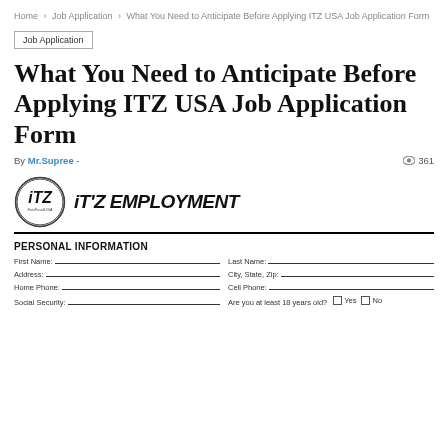Home > Job Application > What You Need to Anticipate Before Applying ITZ USA Job Application Form
Job Application
What You Need to Anticipate Before Applying ITZ USA Job Application Form
By Mr.Supree - 361 views
[Figure (logo): iTZ EMPLOYMENT logo with circular iTZ graphic mark and bold italic text reading iT'Z EMPLOYMENT]
PERSONAL INFORMATION
| First Name: | Last Name: |
| Address: | City, State, Zip: |
| Home Phone: | Cell Phone: |
| Social Security: | Are you at least 18 years old? Yes No |